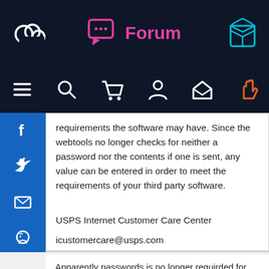Forum
requirements the software may have. Since the webtools no longer checks for neither a password nor the contents if one is sent, any value can be entered in order to meet the requirements of your third party software.
USPS Internet Customer Care Center
icustomercare@usps.com
Apparently passwords is no longer requirded for the production server...